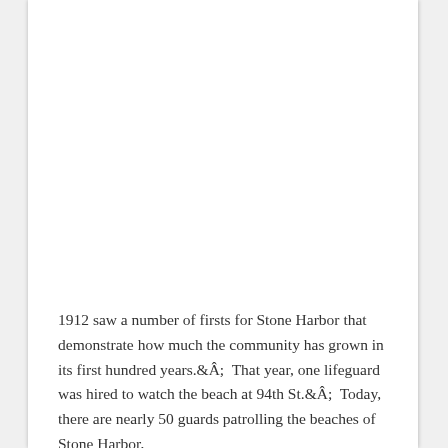[Figure (photo): Large image area occupying the upper portion of the page (image content not visible/white)]
1912 saw a number of firsts for Stone Harbor that demonstrate how much the community has grown in its first hundred years.Â  That year, one lifeguard was hired to watch the beach at 94th St.Â  Today, there are nearly 50 guards patrolling the beaches of Stone Harbor,